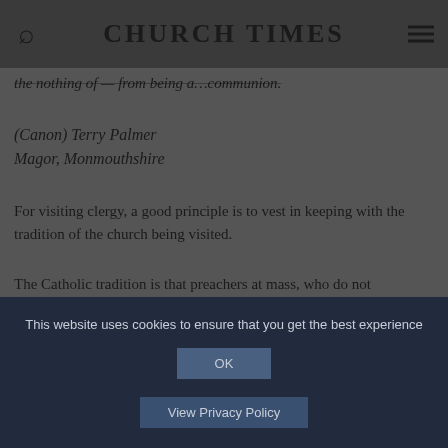CHURCH TIMES
the nothing of — from being a…communion.
(Canon) Terry Palmer
Magor, Monmouthshire
For visiting clergy, a good principle is to vest in keeping with the tradition of the church being visited.
The Catholic tradition is that preachers at mass, who do not
This website uses cookies to ensure that you get the best experience
OK
View Privacy Policy